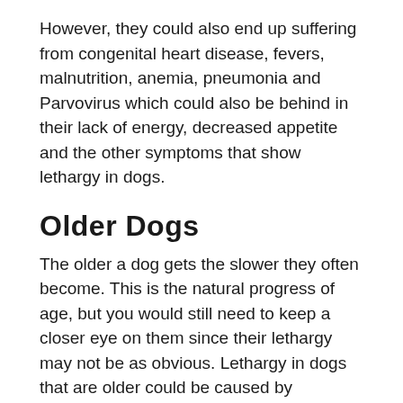However, they could also end up suffering from congenital heart disease, fevers, malnutrition, anemia, pneumonia and Parvovirus which could also be behind in their lack of energy, decreased appetite and the other symptoms that show lethargy in dogs.
Older Dogs
The older a dog gets the slower they often become. This is the natural progress of age, but you would still need to keep a closer eye on them since their lethargy may not be as obvious. Lethargy in dogs that are older could be caused by osteoarthritis (deterioration of the cartilage in joints) which could mean that they feel pain when they move around too much especially if their pain is pronounced.
Other reasons behind lethargy in dogs or a certain age